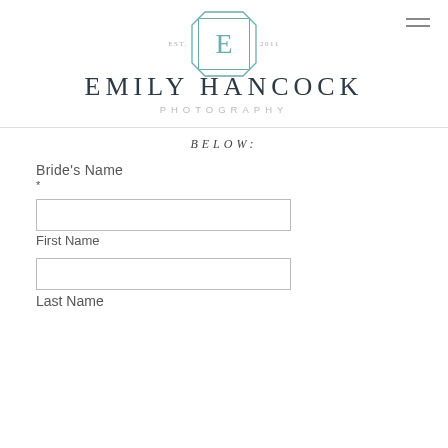[Figure (logo): Emily Hancock Photography logo with decorative E monogram badge, EST. text on left, year on right, and brand name below]
EMILY HANCOCK PHOTOGRAPHY
BELOW:
Bride's Name
*
First Name
Last Name